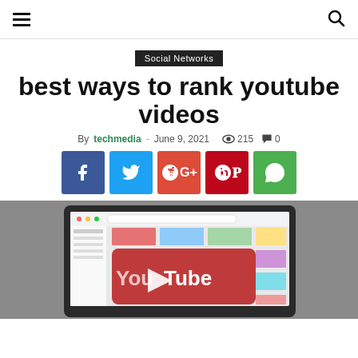Navigation header with hamburger menu and search icon
Social Networks
best ways to rank youtube videos
By techmedia - June 9, 2021  215  0
[Figure (infographic): Social share buttons: Facebook (blue), Twitter (light blue), Google+ (red-orange), Pinterest (red), WhatsApp (green)]
[Figure (screenshot): A laptop or monitor displaying the YouTube website homepage with the YouTube logo visible on screen, set against a grey background]